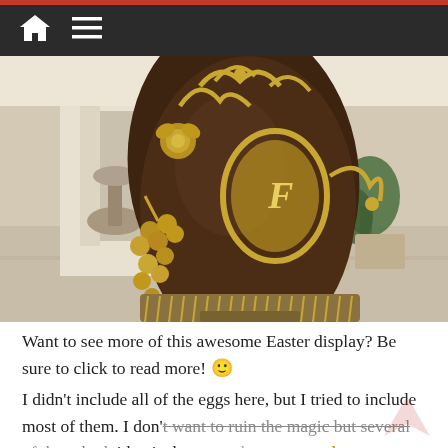Navigation bar with home and menu icons
[Figure (photo): Large decorative chocolate Easter egg with gold filigree, grape clusters, roses, and a monogram medallion, displayed on a pedestal in an elegant hotel lobby with marble floors, a fountain, and seating area in the background.]
Want to see more of this awesome Easter display? Be sure to click to read more! 🙂
I didn't include all of the eggs here, but I tried to include most of them. I don't want to ruin the magic but several of these look identical to eggs that were out last year, which leads me to wonder if these have been living in a freezer somewhere all year...